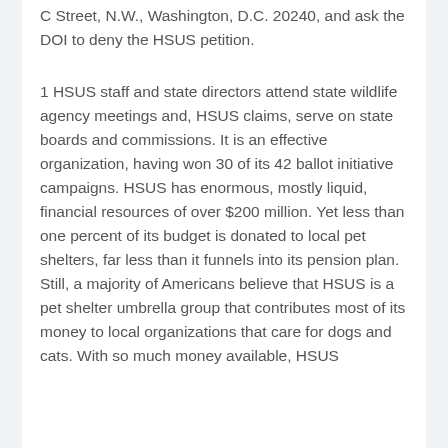C Street, N.W., Washington, D.C. 20240, and ask the DOI to deny the HSUS petition.
1 HSUS staff and state directors attend state wildlife agency meetings and, HSUS claims, serve on state boards and commissions. It is an effective organization, having won 30 of its 42 ballot initiative campaigns. HSUS has enormous, mostly liquid, financial resources of over $200 million. Yet less than one percent of its budget is donated to local pet shelters, far less than it funnels into its pension plan. Still, a majority of Americans believe that HSUS is a pet shelter umbrella group that contributes most of its money to local organizations that care for dogs and cats. With so much money available, HSUS